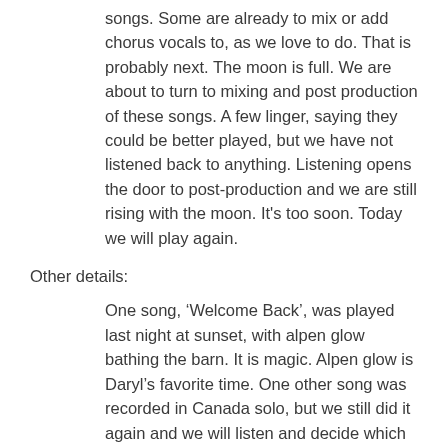songs. Some are already to mix or add chorus vocals to, as we love to do. That is probably next. The moon is full. We are about to turn to mixing and post production of these songs. A few linger, saying they could be better played, but we have not listened back to anything. Listening opens the door to post-production and we are still rising with the moon. It's too soon. Today we will play again.
Other details:
One song, ‘Welcome Back’, was played last night at sunset, with alpen glow bathing the barn. It is magic. Alpen glow is Daryl’s favorite time. One other song was recorded in Canada solo, but we still did it again and we will listen and decide which one makes the album. ‘Song of the Seasons’ is its name. Of the other seven new songs, today we will feel out which ones to play again. We talk it over, go with the songs that we know we felt heavily while they were going down. We have not review them. That was a listening